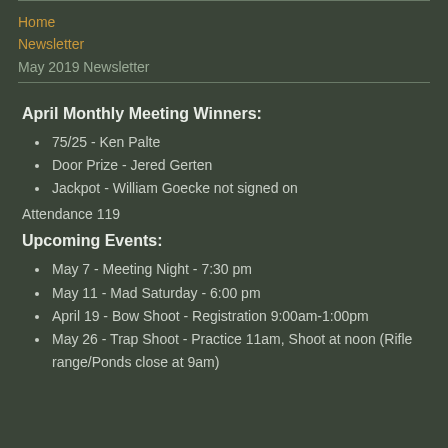Home
Newsletter
May 2019 Newsletter
April Monthly Meeting Winners:
75/25 - Ken Palte
Door Prize - Jered Gerten
Jackpot - William Goecke not signed on
Attendance 119
Upcoming Events:
May 7 - Meeting Night - 7:30 pm
May 11 - Mad Saturday - 6:00 pm
April 19 - Bow Shoot - Registration 9:00am-1:00pm
May 26 - Trap Shoot - Practice 11am, Shoot at noon (Rifle range/Ponds close at 9am)